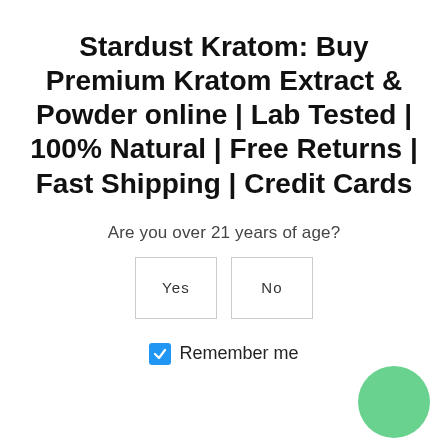Stardust Kratom: Buy Premium Kratom Extract & Powder online | Lab Tested | 100% Natural | Free Returns | Fast Shipping | Credit Cards
Are you over 21 years of age?
Yes   No
☑ Remember me